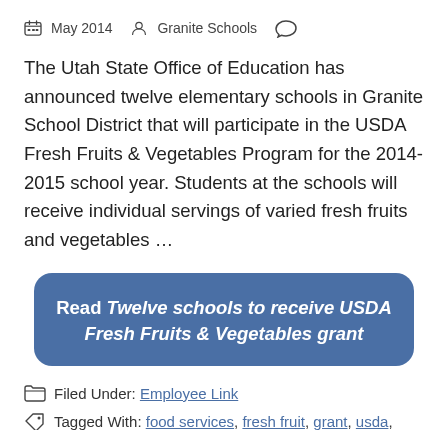May 2014   Granite Schools
The Utah State Office of Education has announced twelve elementary schools in Granite School District that will participate in the USDA Fresh Fruits & Vegetables Program for the 2014-2015 school year. Students at the schools will receive individual servings of varied fresh fruits and vegetables …
Read Twelve schools to receive USDA Fresh Fruits & Vegetables grant
Filed Under: Employee Link
Tagged With: food services, fresh fruit, grant, usda,